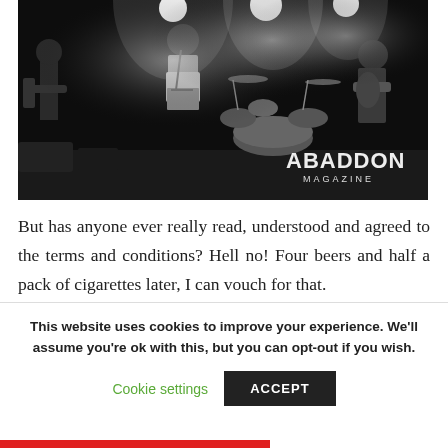[Figure (photo): Black and white concert photo of a band performing on stage. A singer holds a microphone at center, a guitarist is on the left, and another guitarist is on the right. A drum kit is visible in the background. Stage lights shine brightly. An 'ABADDON MAGAZINE' watermark logo appears in the lower right corner of the image.]
But has anyone ever really read, understood and agreed to the terms and conditions? Hell no! Four beers and half a pack of cigarettes later, I can vouch for that.
This website uses cookies to improve your experience. We'll assume you're ok with this, but you can opt-out if you wish.
Cookie settings
ACCEPT